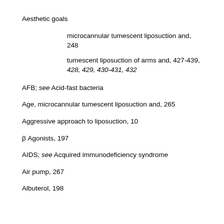Aesthetic goals
microcannular tumescent liposuction and, 248
tumescent liposuction of arms and, 427-439, 428, 429, 430-431, 432
AFB; see Acid-fast bacteria
Age, microcannular tumescent liposuction and, 265
Aggressive approach to liposuction, 10
β Agonists, 197
AIDS; see Acquired immunodeficiency syndrome
Air pump, 267
Albuterol, 198